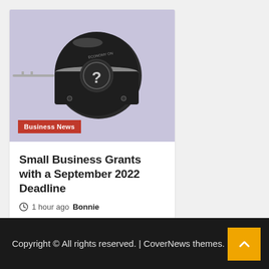[Figure (photo): Close-up of a black cylindrical car key or lock mechanism with a question mark symbol, against a light lavender/purple background]
Business News
Small Business Grants with a September 2022 Deadline
1 hour ago  Bonnie
Copyright © All rights reserved. | CoverNews themes.